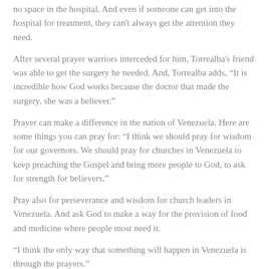no space in the hospital. And even if someone can get into the hospital for treatment, they can't always get the attention they need.
After several prayer warriors interceded for him, Torrealba's friend was able to get the surgery he needed. And, Torrealba adds, “It is incredible how God works because the doctor that made the surgery, she was a believer.”
Prayer can make a difference in the nation of Venezuela. Here are some things you can pray for: “I think we should pray for wisdom for our governors. We should pray for churches in Venezuela to keep preaching the Gospel and bring more people to God, to ask for strength for believers.”
Pray also for perseverance and wisdom for church leaders in Venezuela. And ask God to make a way for the provision of food and medicine where people most need it.
“I think the only way that something will happen in Venezuela is through the prayers.”
Posted in Mission Network News